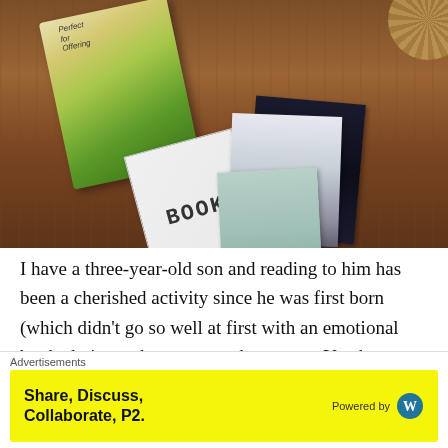[Figure (photo): Photo of children's books and illustrated cards spread out on a wooden table, including a tree illustration book, a black night sky card, a misty watercolor card with a small figure, and a card with hand-lettered BOOK text.]
I have a three-year-old son and reading to him has been a cherished activity since he was first born (which didn't go so well at first with an emotional book choice and postpartum hormones. You know what I'm talking
Advertisements
Share, Discuss, Collaborate, P2.
Powered by